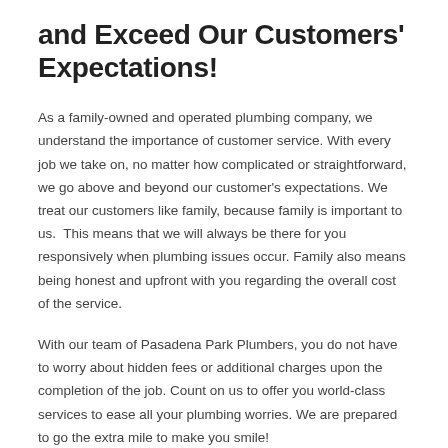and Exceed Our Customers' Expectations!
As a family-owned and operated plumbing company, we understand the importance of customer service. With every job we take on, no matter how complicated or straightforward, we go above and beyond our customer's expectations. We treat our customers like family, because family is important to us.  This means that we will always be there for you responsively when plumbing issues occur. Family also means being honest and upfront with you regarding the overall cost of the service.
With our team of Pasadena Park Plumbers, you do not have to worry about hidden fees or additional charges upon the completion of the job. Count on us to offer you world-class services to ease all your plumbing worries. We are prepared to go the extra mile to make you smile!